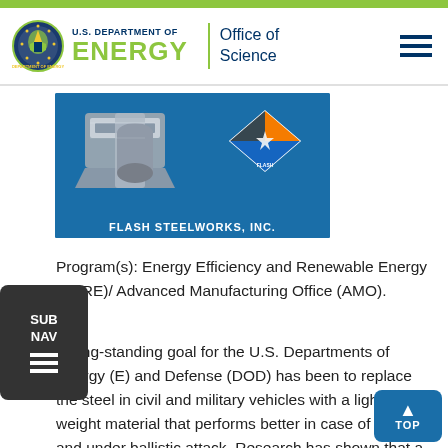[Figure (logo): U.S. Department of Energy Office of Science header logo with DOE seal, 'U.S. DEPARTMENT OF ENERGY' text in green, vertical divider, and 'Office of Science' text]
[Figure (photo): Flash Steelworks, Inc. promotional image showing metallic steel parts on blue background with Flash logo and company name]
Program(s): Energy Efficiency and Renewable Energy (EERE)/ Advanced Manufacturing Office (AMO).
A long-standing goal for the U.S. Departments of Energy (E) and Defense (DOD) has been to replace the steel in civil and military vehicles with a lighter-weight material that performs better in case of crash and under ballistic attack. Research has shown that a 10% reduction in vehicle weight increases fuel economy from 6% to 8%. To date, efforts to replace steel with aluminum, titanium, magnesium, or carbon composites have not been